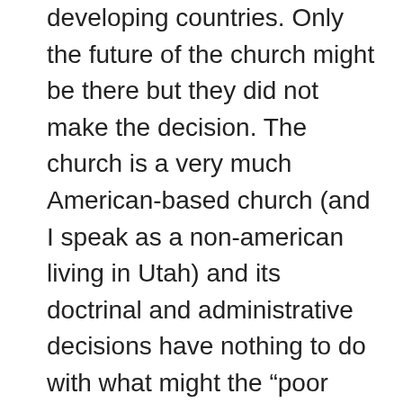developing countries. Only the future of the church might be there but they did not make the decision. The church is a very much American-based church (and I speak as a non-american living in Utah) and its doctrinal and administrative decisions have nothing to do with what might the “poor south american, african, or asian members” feel about it. In fact, you are making the assumption that all members there are so non-progressive and so under-developed that they are going to make us all good mormons stay stuck in the mess we started. I can guarantee you that most of them don’t even know about this policy. In fact, when I talked about it with my family over-seas they had no idea it was a thing. And they attend church every Sunday. So progress won’t come from there, it